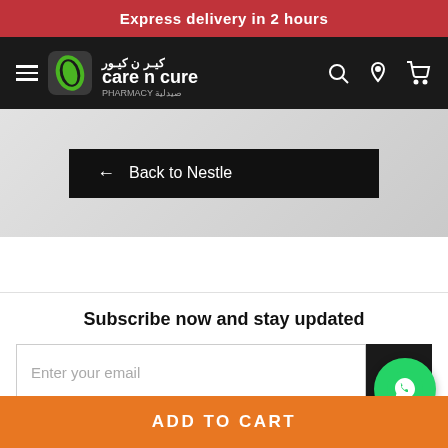Express delivery in 2 hours
[Figure (logo): Care n Cure Pharmacy logo — green leaf N icon with Arabic and English text on black navigation bar with hamburger menu, search, location, and cart icons]
← Back to Nestle
Subscribe now and stay updated
Enter your email
ADD TO CART